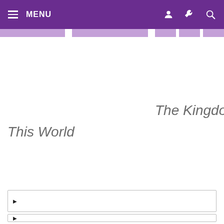MENU
The Kingdom of This World